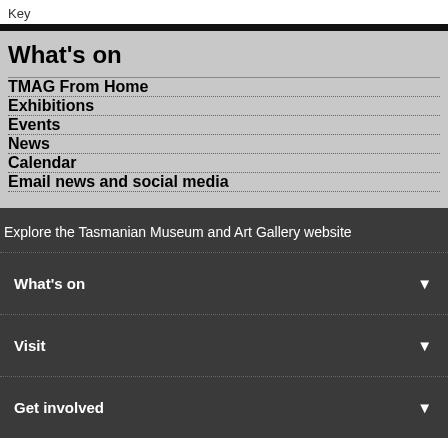Key
What's on
TMAG From Home
Exhibitions
Events
News
Calendar
Email news and social media
Explore the Tasmanian Museum and Art Gallery website
What's on
Visit
Get involved